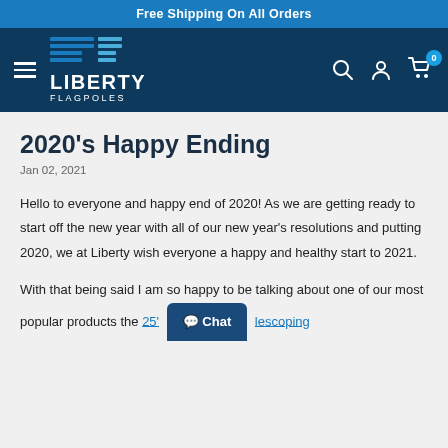Free Shipping On All Orders
[Figure (logo): Liberty Flagpoles logo with horizontal lines icon, hamburger menu, search, account, and cart icons on dark navy background]
2020's Happy Ending
Jan 02, 2021
Hello to everyone and happy end of 2020! As we are getting ready to start off the new year with all of our new year's resolutions and putting 2020, we at Liberty wish everyone a happy and healthy start to 2021.
With that being said I am so happy to be talking about one of our most popular products the 25' [telescoping]